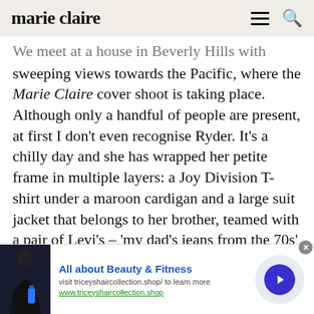marie claire
We meet at a house in Beverly Hills with sweeping views towards the Pacific, where the Marie Claire cover shoot is taking place. Although only a handful of people are present, at first I don't even recognise Ryder. It's a chilly day and she has wrapped her petite frame in multiple layers: a Joy Division T-shirt under a maroon cardigan and a large suit jacket that belongs to her brother, teamed with a pair of Levi's – 'my dad's jeans from the 70s' – and
[Figure (other): Advertisement banner for triceyhaircollection.shop with image of woman in black holding blue bottle, text 'All about Beauty & Fitness', URL www.triceyshairco|lection.shop, and a blue circular arrow button]